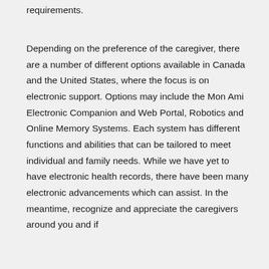requirements.
Depending on the preference of the caregiver, there are a number of different options available in Canada and the United States, where the focus is on electronic support. Options may include the Mon Ami Electronic Companion and Web Portal, Robotics and Online Memory Systems. Each system has different functions and abilities that can be tailored to meet individual and family needs. While we have yet to have electronic health records, there have been many electronic advancements which can assist. In the meantime, recognize and appreciate the caregivers around you and if